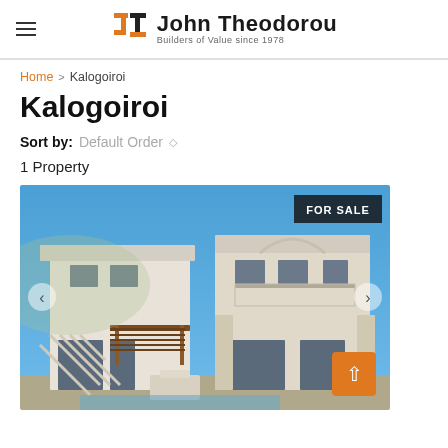John Theodorou — Builders of Value since 1978
Home > Kalogoiroi
Kalogoiroi
Sort by: Default Order
1 Property
[Figure (photo): Exterior photo of a large white Mediterranean-style villa with two prominent sections, a pergola, balconies, and a clear blue sky. A 'FOR SALE' badge appears in the upper right corner of the image. Navigation arrows are visible on both sides.]